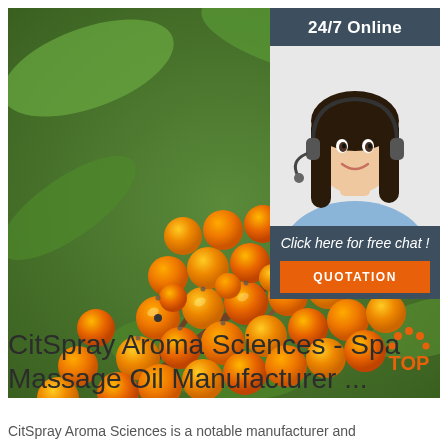[Figure (photo): Close-up photo of orange sea buckthorn berries on a branch with green leaves, with an overlaid customer service chat widget showing a female agent wearing a headset, labeled '24/7 Online' with a 'QUOTATION' button.]
CitSpray Aroma Sciences - Spa Massage Oil Manufacturer ...
CitSpray Aroma Sciences is a notable manufacturer and